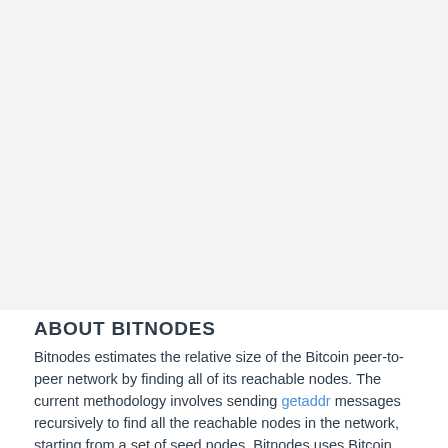[Figure (other): Large light gray placeholder image occupying the top portion of the page]
ABOUT BITNODES
Bitnodes estimates the relative size of the Bitcoin peer-to-peer network by finding all of its reachable nodes. The current methodology involves sending getaddr messages recursively to find all the reachable nodes in the network, starting from a set of seed nodes. Bitnodes uses Bitcoin protocol version